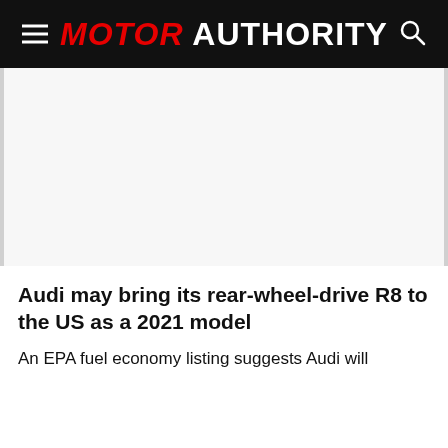MOTOR AUTHORITY
[Figure (other): Advertisement / blank space area]
Audi may bring its rear-wheel-drive R8 to the US as a 2021 model
An EPA fuel economy listing suggests Audi will